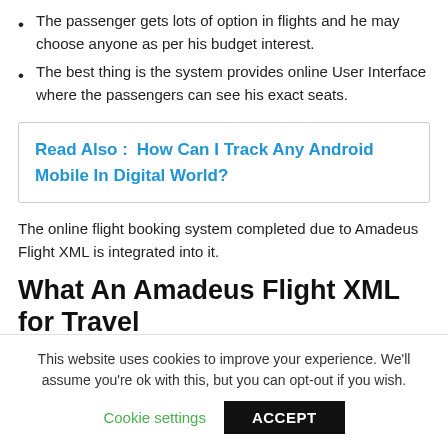The passenger gets lots of option in flights and he may choose anyone as per his budget interest.
The best thing is the system provides online User Interface where the passengers can see his exact seats.
Read Also :   How Can I Track Any Android Mobile In Digital World?
The online flight booking system completed due to Amadeus Flight XML is integrated into it.
What An Amadeus Flight XML for Travel
This website uses cookies to improve your experience. We'll assume you're ok with this, but you can opt-out if you wish.